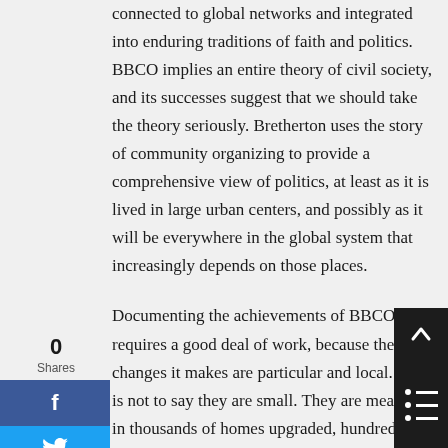connected to global networks and integrated into enduring traditions of faith and politics. BBCO implies an entire theory of civil society, and its successes suggest that we should take the theory seriously. Bretherton uses the story of community organizing to provide a comprehensive view of politics, at least as it is lived in large urban centers, and possibly as it will be everywhere in the global system that increasingly depends on those places.
Documenting the achievements of BBCO requires a good deal of work, because the changes it makes are particular and local. That is not to say they are small. They are measured in thousands of homes upgraded, hundreds of families who gain access to new skills or new services, and whole communities that achieve quantifiable improvements in quality of life and a new